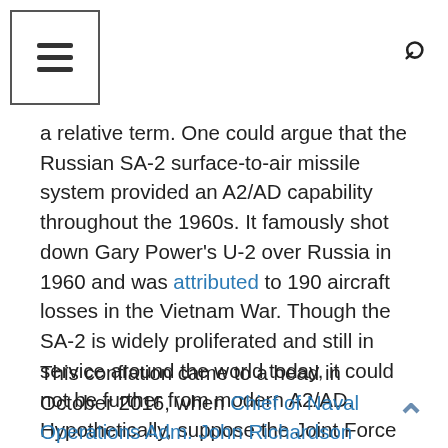[Navigation menu icon and search icon]
a relative term. One could argue that the Russian SA-2 surface-to-air missile system provided an A2/AD capability throughout the 1960s. It famously shot down Gary Power's U-2 over Russia in 1960 and was attributed to 190 aircraft losses in the Vietnam War. Though the SA-2 is widely proliferated and still in service around the world today, it could not be further from modern A2/AD. Hypothetically, suppose the Joint Force was instantly transformed to counter all of the threats today, would the term “A2/AD” cease? Unlikely; instead the term would simply seek new systems to define its existence.
This conflation came to a head in October 2016, when Chief of Naval Operations Adm. John Richardson declared, “To ensure clarity in our thinking and precision… We’ll no longer use the term A2/AD as a